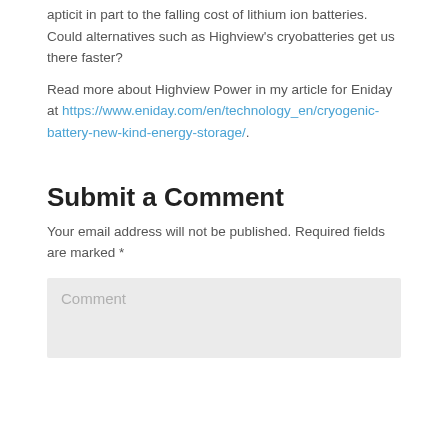apticit in part to the falling cost of lithium ion batteries. Could alternatives such as Highview's cryobatteries get us there faster?
Read more about Highview Power in my article for Eniday at https://www.eniday.com/en/technology_en/cryogenic-battery-new-kind-energy-storage/.
Submit a Comment
Your email address will not be published. Required fields are marked *
Comment